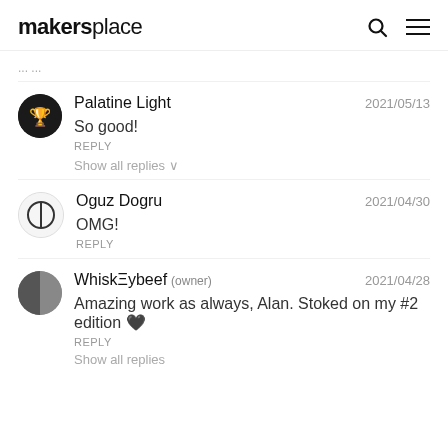makersplace
...
Palatine Light 2021/05/13 — So good! REPLY — Show all replies
Oguz Dogru 2021/04/30 — OMG! REPLY
WhiskEybeef (owner) 2021/04/28 — Amazing work as always, Alan. Stoked on my #2 edition 🖤 REPLY — Show all replies